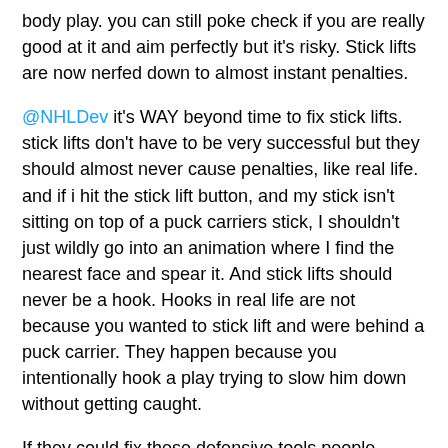body play. you can still poke check if you are really good at it and aim perfectly but it's risky. Stick lifts are now nerfed down to almost instant penalties.
@NHLDev it's WAY beyond time to fix stick lifts. stick lifts don't have to be very successful but they should almost never cause penalties, like real life. and if i hit the stick lift button, and my stick isn't sitting on top of a puck carriers stick, I shouldn't just wildly go into an animation where I find the nearest face and spear it. And stick lifts should never be a hook. Hooks in real life are not because you wanted to stick lift and were behind a puck carrier. They happen because you intentionally hook a play trying to slow him down without getting caught.
If they could fix these defensive tools people wouldn't need to rely so much on hitting and then the wonky hitting engine problems and puck ragging wouldn't be such a big deal. Just like in real life, once we are occupying the same space, unless they pass/shoot it away, they should be losing the puck. short of a player protecting the puck perfectly, even then that would be rare, poke checks should be knocking it away within a couple of attempts. unfortunately because of whiners that